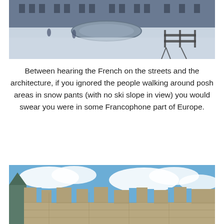[Figure (photo): Outdoor winter scene showing a snowy plaza or courtyard in front of a large stone building. A circular fountain or basin is visible, along with metal crowd control barriers on the right side. The ground is covered in snow.]
Between hearing the French on the streets and the architecture, if you ignored the people walking around posh areas in snow pants (with no ski slope in view) you would swear you were in some Francophone part of Europe.
[Figure (photo): Outdoor daytime photo of old stone fortification walls with battlements against a bright blue sky with white clouds. A green copper roof turret is visible on the left side.]